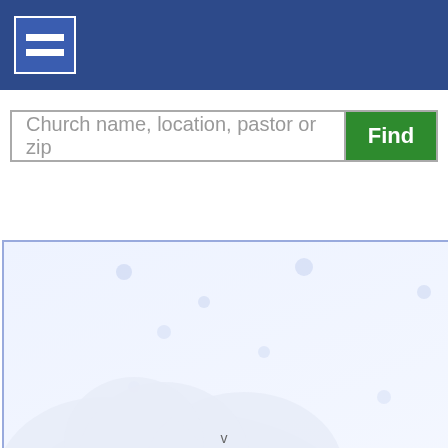Navigation menu header bar
[Figure (screenshot): Search bar with placeholder text 'Church name, location, pastor or zip' and a green Find button]
[Figure (screenshot): Google Cloud Security advertisement banner showing cloud imagery with text 'Google Cloud Security, SIMPLIFIED.' with ad controls (play and close buttons) in top right corner]